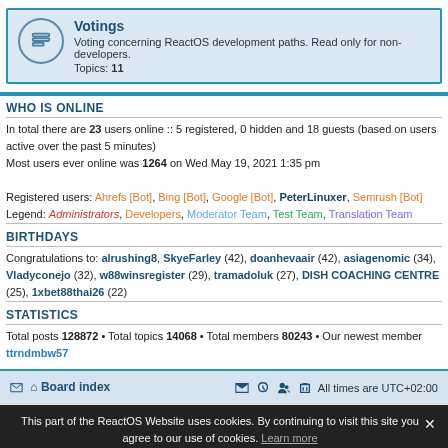[Figure (other): Forum category card for Votings with icon, title, description and topic count]
WHO IS ONLINE
In total there are 23 users online :: 5 registered, 0 hidden and 18 guests (based on users active over the past 5 minutes)
Most users ever online was 1264 on Wed May 19, 2021 1:35 pm

Registered users: Ahrefs [Bot], Bing [Bot], Google [Bot], PeterLinuxer, Semrush [Bot]
Legend: Administrators, Developers, Moderator Team, Test Team, Translation Team
BIRTHDAYS
Congratulations to: alrushing8, SkyeFarley (42), doanhevaair (42), asiagenomic (34), Vladyconejo (32), w88winsregister (29), tramadoluk (27), DISH COACHING CENTRE (25), 1xbet88thai26 (22)
STATISTICS
Total posts 128872 • Total topics 14068 • Total members 80243 • Our newest member ttrndmbw57
Board index  All times are UTC+02:00
This part of the ReactOS Website uses cookies. By continuing to visit this site you agree to our use of cookies. Learn more